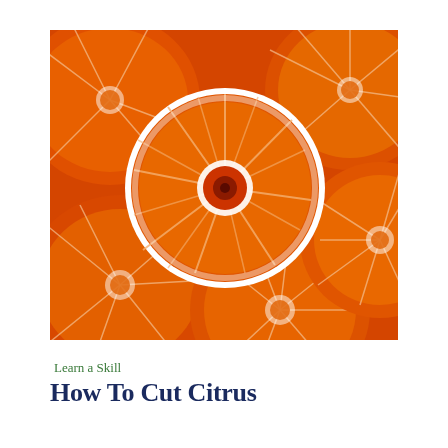[Figure (photo): Close-up photograph of multiple sliced oranges/citrus fruits arranged together, showing the bright orange flesh and white pith segments. A whole cross-section is centered in the image surrounded by partial slices.]
Learn a Skill
How To Cut Citrus